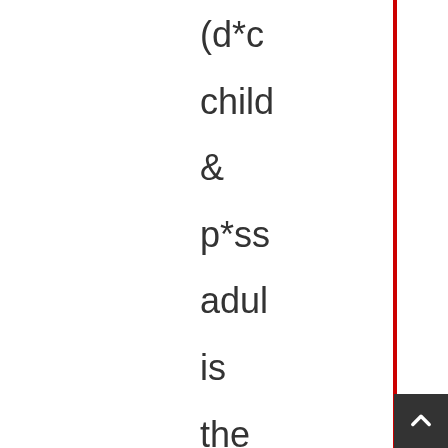(d*cl child & p*ss adul is the wise sage whe the yang and yin of disre